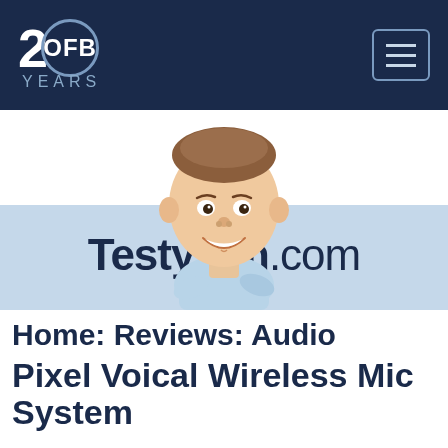20FB YEARS
[Figure (illustration): Cartoon caricature illustration of a man (Testy Tim mascot) with a large smiling head, short hair, arms crossed, wearing a light blue shirt]
TestyTim.com
Home: Reviews: Audio
Pixel Voical Wireless Mic System